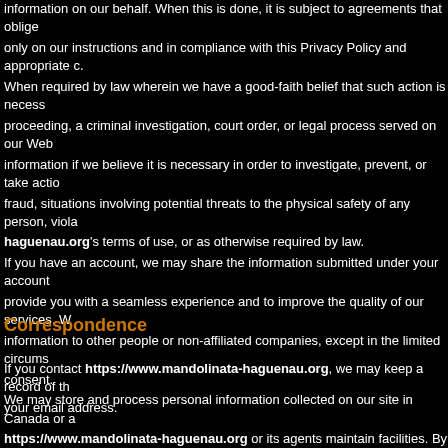information on our behalf. When this is done, it is subject to agreements that oblige only on our instructions and in compliance with this Privacy Policy and appropriate c. When required by law wherein we have a good-faith belief that such action is necess proceeding, a criminal investigation, court order, or legal process served on our Web information if we believe it is necessary in order to investigate, prevent, or take actio fraud, situations involving potential threats to the physical safety of any person, viola haguenau.org's terms of use, or as otherwise required by law. If you have an account, we may share the information submitted under your account provide you with a seamless experience and to improve the quality of our services. W information to other people or non-affiliated companies, except in the limited circums consent. We may store and process personal information collected on our site in Canada or a https://www.mandolinata-haguenau.org or its agents maintain facilities. By using o your information among these facilities, including those located outside your country. https://www.mandolinata-haguenau.org may use third-party service providers to s companies may use technologies to measure the effectiveness of ads and emails an https://www.mandolinata-haguenau.org so that we can provide a better search ex also provide these third parties service providers with anonymous information about We may share certain information about you with carefully selected business partner that complement those provided by us or which we believe may be of interest to you. parties who assist us in providing our services to you. For example, we may engage site, to offer new products, and to allow us to customize your experience on the site.
Correspondence
If you contact https://www.mandolinata-haguenau.org, we may keep a record of th your email address.